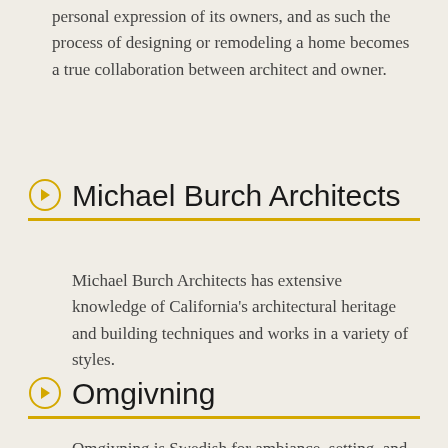personal expression of its owners, and as such the process of designing or remodeling a home becomes a true collaboration between architect and owner.
Michael Burch Architects
Michael Burch Architects has extensive knowledge of California's architectural heritage and building techniques and works in a variety of styles.
Omgivning
Omgivning is Swedish for ambiance, setting, and...